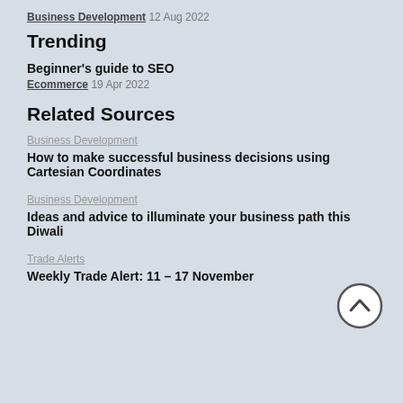Business Development  12 Aug 2022
Trending
Beginner's guide to SEO
Ecommerce  19 Apr 2022
Related Sources
Business Development
How to make successful business decisions using Cartesian Coordinates
Business Development
Ideas and advice to illuminate your business path this Diwali
Trade Alerts
Weekly Trade Alert: 11 – 17 November